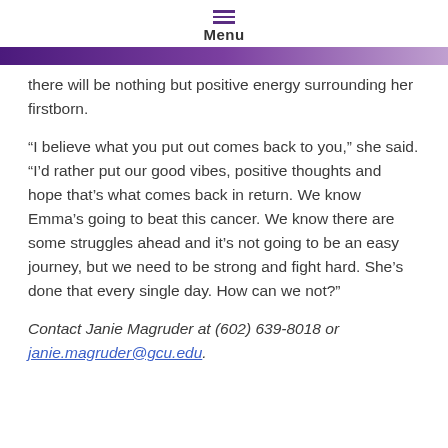Menu
there will be nothing but positive energy surrounding her firstborn.
“I believe what you put out comes back to you,” she said. “I’d rather put our good vibes, positive thoughts and hope that’s what comes back in return. We know Emma’s going to beat this cancer. We know there are some struggles ahead and it’s not going to be an easy journey, but we need to be strong and fight hard. She’s done that every single day. How can we not?”
Contact Janie Magruder at (602) 639-8018 or janie.magruder@gcu.edu.